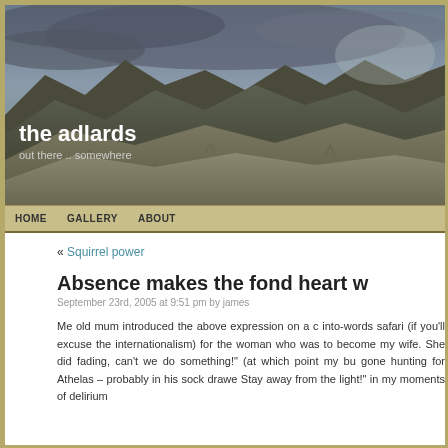[Figure (photo): Mountain landscape with dramatic cloudy sky, showing rocky hills and arid terrain, used as website header background]
the adlards
out there .. somewhere
HOME   GALLERY   ABOUT
« Squirrel power
Absence makes the fond heart w
September 23rd, 2005 at 9:51 pm by james
Me old mum introduced the above expression on a c into-words safari (if you'll excuse the internationalism) for the woman who was to become my wife. She did fading, can't we do something!" (at which point my bu gone hunting for Athelas – probably in his sock drawe Stay away from the light!" in my moments of delirium